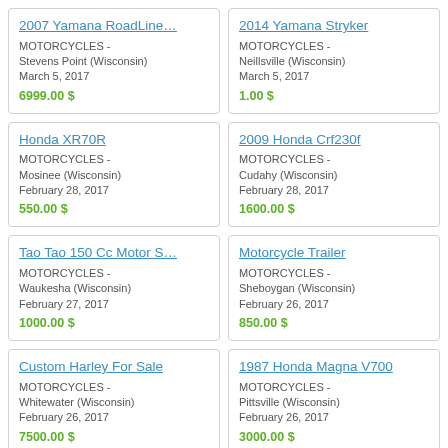2007 Yamana RoadLine... | MOTORCYCLES - Stevens Point (Wisconsin) | March 5, 2017 | 6999.00 $
2014 Yamana Stryker | MOTORCYCLES - Neillsville (Wisconsin) | March 5, 2017 | 1.00 $
Honda XR70R | MOTORCYCLES - Mosinee (Wisconsin) | February 28, 2017 | 550.00 $
2009 Honda Crf230f | MOTORCYCLES - Cudahy (Wisconsin) | February 28, 2017 | 1600.00 $
Tao Tao 150 Cc Motor S... | MOTORCYCLES - Waukesha (Wisconsin) | February 27, 2017 | 1000.00 $
Motorcycle Trailer | MOTORCYCLES - Sheboygan (Wisconsin) | February 26, 2017 | 850.00 $
Custom Harley For Sale | MOTORCYCLES - Whitewater (Wisconsin) | February 26, 2017 | 7500.00 $
1987 Honda Magna V700 | MOTORCYCLES - Pittsville (Wisconsin) | February 26, 2017 | 3000.00 $
2006 Heritage Soft Tail ... | MOTORCYCLES -
Motorcycle Trade | MOTORCYCLES -